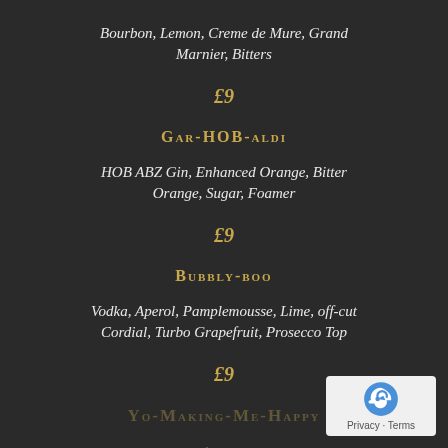Bourbon, Lemon, Creme de Mure, Grand Marnier, Bitters
£9
Gar-HOB-aldi
HOB ABZ Gin, Enhanced Orange, Bitter Orange, Sugar, Foamer
£9
Bubbly-boo
Vodka, Aperol, Pamplemousse, Lime, off-cut Cordial, Turbo Grapefruit, Prosecco Top
£9
Yo-Making-Me-Happy
Tequila, Passionfruit, Lime, Fino Sherry
£9